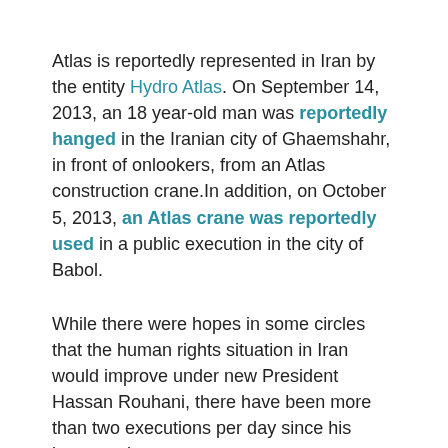Atlas is reportedly represented in Iran by the entity Hydro Atlas. On September 14, 2013, an 18 year-old man was reportedly hanged in the Iranian city of Ghaemshahr, in front of onlookers, from an Atlas construction crane.In addition, on October 5, 2013, an Atlas crane was reportedly used in a public execution in the city of Babol.
While there were hopes in some circles that the human rights situation in Iran would improve under new President Hassan Rouhani, there have been more than two executions per day since his inauguration.
As part of its Cranes Campaign, UANI previously wrote to Atlas in March 2013 and November 2013 to express concerns with Atlas's business in Iran. Now, UANI is calling on Atlas to completely leave Iran, and take aggressive, diligent action to stop the Iranian regime from misusing its